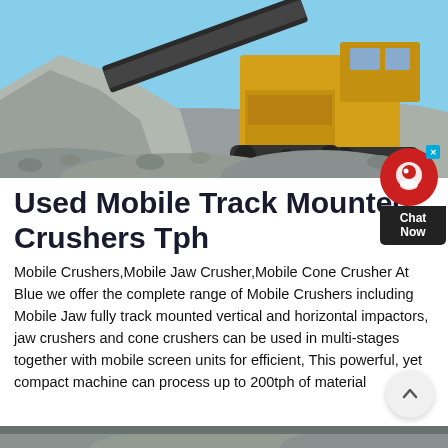[Figure (photo): Yellow mobile track-mounted crusher machine operating in a rock quarry, with large piles of crushed stone/gravel in the foreground and background, blue sky visible.]
Used Mobile Track Mounted Crushers Tph
Mobile Crushers,Mobile Jaw Crusher,Mobile Cone Crusher At Blue we offer the complete range of Mobile Crushers including Mobile Jaw fully track mounted vertical and horizontal impactors, jaw crushers and cone crushers can be used in multi-stages together with mobile screen units for efficient, This powerful, yet compact machine can process up to 200tph of material
[Figure (photo): Partial view of another photo at the bottom of the page, showing additional crusher/quarry imagery.]